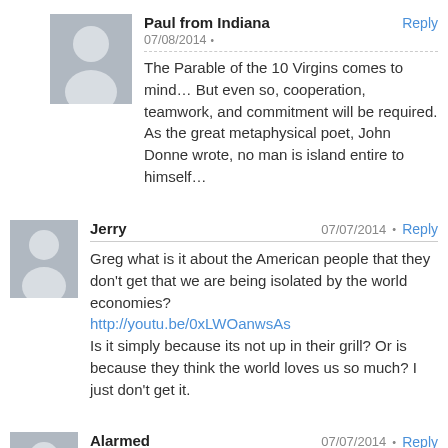Paul from Indiana — 07/08/2014 • Reply
The Parable of the 10 Virgins comes to mind… But even so, cooperation, teamwork, and commitment will be required. As the great metaphysical poet, John Donne wrote, no man is island entire to himself…
Jerry — 07/07/2014 • Reply
Greg what is it about the American people that they don't get that we are being isolated by the world economies?
http://youtu.be/0xLWOanwsAs
Is it simply because its not up in their grill? Or is because they think the world loves us so much? I just don't get it.
Alarmed — 07/07/2014 • Reply